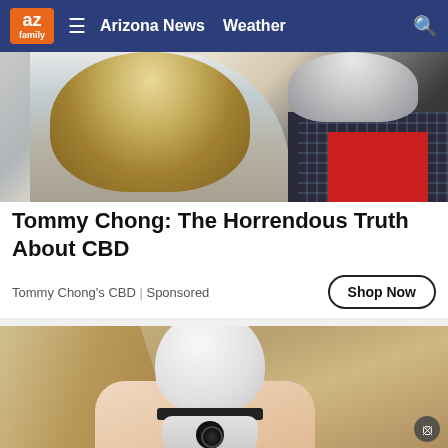az family | Arizona News | Weather
[Figure (photo): Two people posing together — a woman with curly blonde hair wearing a sparkly silver dress and a man with white hair wearing a plaid jacket with a red tie.]
Tommy Chong: The Horrendous Truth About CBD
Tommy Chong's CBD | Sponsored
Shop Now
[Figure (photo): A hand holding a white security camera shaped like a light bulb with a screw base at the top and a camera lens with LED ring at the bottom.]